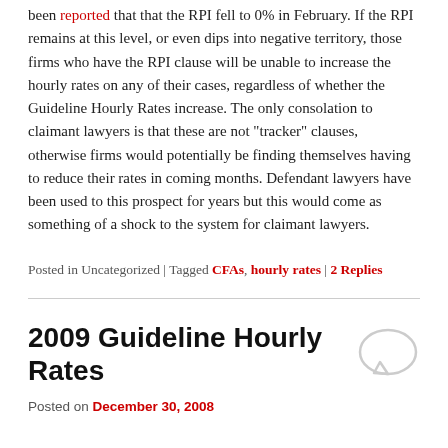been reported that that the RPI fell to 0% in February. If the RPI remains at this level, or even dips into negative territory, those firms who have the RPI clause will be unable to increase the hourly rates on any of their cases, regardless of whether the Guideline Hourly Rates increase. The only consolation to claimant lawyers is that these are not "tracker" clauses, otherwise firms would potentially be finding themselves having to reduce their rates in coming months. Defendant lawyers have been used to this prospect for years but this would come as something of a shock to the system for claimant lawyers.
Posted in Uncategorized | Tagged CFAs, hourly rates | 2 Replies
2009 Guideline Hourly Rates
Posted on December 30, 2008